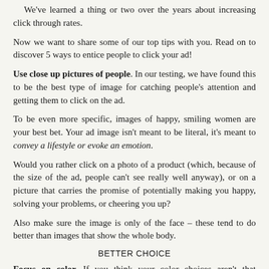We've learned a thing or two over the years about increasing click through rates.
Now we want to share some of our top tips with you. Read on to discover 5 ways to entice people to click your ad!
Use close up pictures of people. In our testing, we have found this to be the best type of image for catching people's attention and getting them to click on the ad.
To be even more specific, images of happy, smiling women are your best bet. Your ad image isn't meant to be literal, it's meant to convey a lifestyle or evoke an emotion.
Would you rather click on a photo of a product (which, because of the size of the ad, people can't see really well anyway), or on a picture that carries the promise of potentially making you happy, solving your problems, or cheering you up?
Also make sure the image is only of the face – these tend to do better than images that show the whole body.
BETTER CHOICE
Focus on color. If you think your color choices aren't that important, you are very, very wrong!